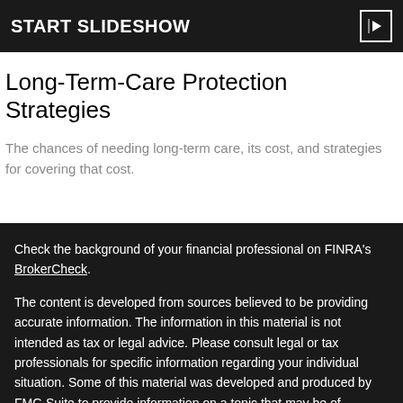START SLIDESHOW
Long-Term-Care Protection Strategies
The chances of needing long-term care, its cost, and strategies for covering that cost.
Check the background of your financial professional on FINRA's BrokerCheck.
The content is developed from sources believed to be providing accurate information. The information in this material is not intended as tax or legal advice. Please consult legal or tax professionals for specific information regarding your individual situation. Some of this material was developed and produced by FMG Suite to provide information on a topic that may be of interest. FMG Suite is not affiliated with the named representative, broker - dealer, state - or SEC - registered investment advisory firm. The opinions expressed and material provided are for general information, and should not be considered a solicitation for the purchase or sale of any security.